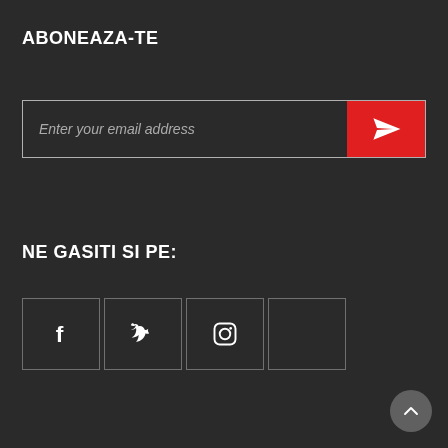ABONEAZA-TE
[Figure (other): Email subscription input field with placeholder text 'Enter your email address' and a red send/submit button with paper plane icon]
NE GASITI SI PE:
[Figure (other): Four social media icon boxes: Facebook (f), Twitter (bird), Instagram (camera), and one empty box]
[Figure (other): Scroll to top button, circular grey button with up-arrow chevron, bottom right corner]